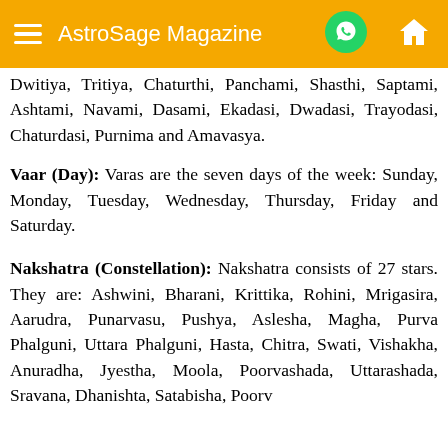AstroSage Magazine
Dwitiya, Tritiya, Chaturthi, Panchami, Shasthi, Saptami, Ashtami, Navami, Dasami, Ekadasi, Dwadasi, Trayodasi, Chaturdasi, Purnima and Amavasya.
Vaar (Day): Varas are the seven days of the week: Sunday, Monday, Tuesday, Wednesday, Thursday, Friday and Saturday.
Nakshatra (Constellation): Nakshatra consists of 27 stars. They are: Ashwini, Bharani, Krittika, Rohini, Mrigasira, Aarudra, Punarvasu, Pushya, Aslesha, Magha, Purva Phalguni, Uttara Phalguni, Hasta, Chitra, Swati, Vishakha, Anuradha, Jyestha, Moola, Poorvashada, Uttarashada, Sravana, Dhanishta, Satabisha, Poorv...